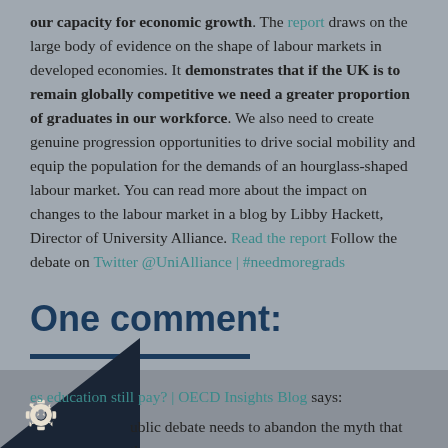our capacity for economic growth. The report draws on the large body of evidence on the shape of labour markets in developed economies. It demonstrates that if the UK is to remain globally competitive we need a greater proportion of graduates in our workforce. We also need to create genuine progression opportunities to drive social mobility and equip the population for the demands of an hourglass-shaped labour market. You can read more about the impact on changes to the labour market in a blog by Libby Hackett, Director of University Alliance. Read the report Follow the debate on Twitter @UniAlliance | #needmoregrads
One comment:
es education still pay? | OECD Insights Blog says:
ublic debate needs to abandon the myth that there